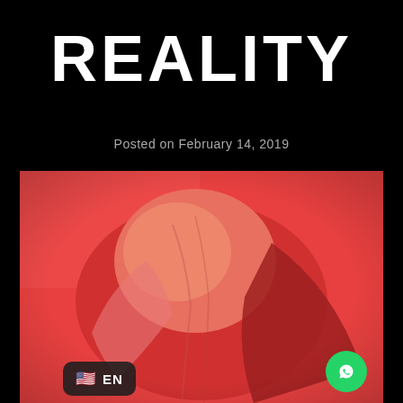REALITY
Posted on February 14, 2019
[Figure (photo): Person with head covered by red/orange fabric against a red-orange background, shot from behind at an angle. High-contrast editorial style photo.]